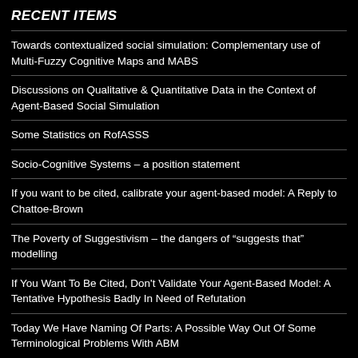RECENT ITEMS
Towards contextualized social simulation: Complementary use of Multi-Fuzzy Cognitive Maps and MABS
Discussions on Qualitative & Quantitative Data in the Context of Agent-Based Social Simulation
Some Statistics on RofASSS
Socio-Cognitive Systems – a position statement
If you want to be cited, calibrate your agent-based model: A Reply to Chattoe-Brown
The Poverty of Suggestivism – the dangers of “suggests that” modelling
If You Want To Be Cited, Don't Validate Your Agent-Based Model: A Tentative Hypothesis Badly In Need of Refutation
Today We Have Naming Of Parts: A Possible Way Out Of Some Terminological Problems With ABM